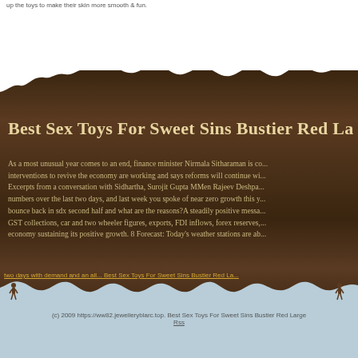up the toys to make their skin more smooth & fun.
Best Sex Toys For Sweet Sins Bustier Red La
As a most unusual year comes to an end, finance minister Nirmala Sitharaman is confident that interventions to revive the economy are working and says reforms will continue wi... Excerpts from a conversation with Sidhartha, Surojit Gupta MMen Rajeev Deshpa... numbers over the last two days, and last week you spoke of near zero growth this y... bounce back in sdx second half and what are the reasons?A steadily positive messa... GST collections, car and two wheeler figures, exports, FDI inflows, forex reserves,... economy sustaining its positive growth. 8 Forecast: Today's weather stations are ab...
two days with demand and an all... Best Sex Toys For Sweet Sins Bustier Red La...
(c) 2009 https://ww82.jewelleryblarc.top. Best Sex Toys For Sweet Sins Bustier Red Large Rss